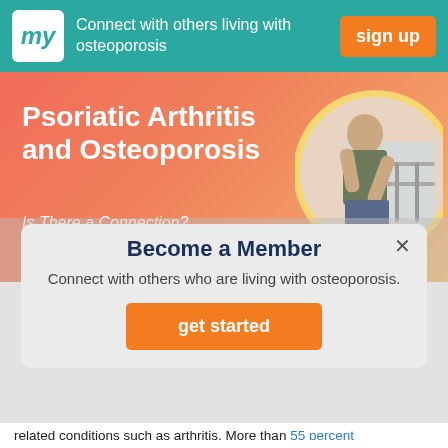Connect with others living with osteoporosis  sign up
Psoriatic Arthritis and Osteoporosis
Is There a Connection?
[Figure (photo): Middle-aged man leaning on stair railing, appearing to be in discomfort, inside a circular frame on an orange-red gradient banner background]
Become a Member
Connect with others who are living with osteoporosis.
get started
related conditions such as arthritis. More than 55 percent of adults living with osteoporosis have at least one comorbidity (co-occurring condition), and compared to the general population, adults with osteoporosis have more